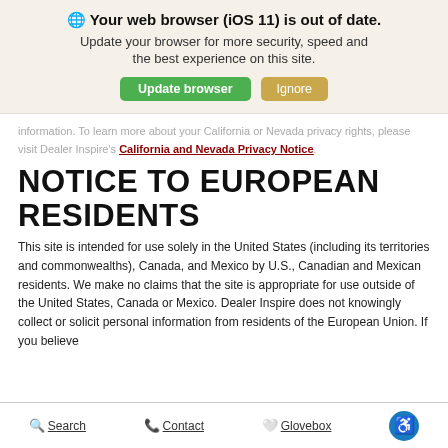[Figure (screenshot): Browser update notification banner with globe icon, bold title 'Your web browser (iOS 11) is out of date.', subtitle text, and two buttons: green 'Update browser' and tan 'Ignore']
information. To learn more about your California or Nevada privacy rights, please visit Dealer Inspire's California and Nevada Privacy Notice.
NOTICE TO EUROPEAN RESIDENTS
This site is intended for use solely in the United States (including its territories and commonwealths), Canada, and Mexico by U.S., Canadian and Mexican residents. We make no claims that the site is appropriate for use outside of the United States, Canada or Mexico. Dealer Inspire does not knowingly collect or solicit personal information from residents of the European Union. If you believe
Search   Contact   Glovebox   [accessibility icon]